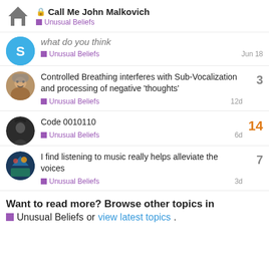Call Me John Malkovich — Unusual Beliefs
what do you think — Unusual Beliefs — Jun 18
Controlled Breathing interferes with Sub-Vocalization and processing of negative 'thoughts' — Unusual Beliefs — 12d — replies: 3
Code 0010110 — Unusual Beliefs — 6d — replies: 14
I find listening to music really helps alleviate the voices — Unusual Beliefs — 3d — replies: 7
Want to read more? Browse other topics in Unusual Beliefs or view latest topics.